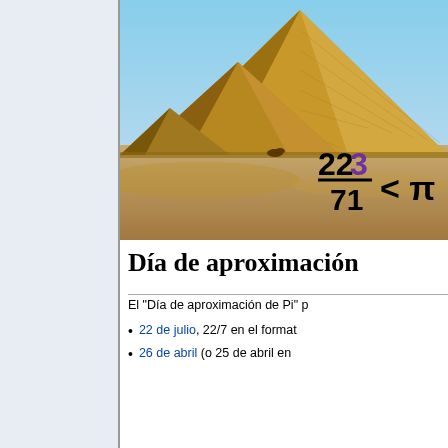[Figure (photo): Photo of the Pyramids of Giza with sandy desert in the foreground and blue sky above. Overlaid is the mathematical formula: 223/71 < π, where the '3' in 223 is colored purple.]
Día de aproximación
El "Día de aproximación de Pi" p
22 de julio, 22/7 en el format
26 de abril (o 25 de abril en